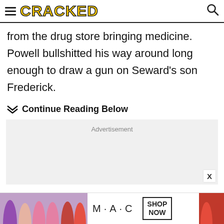CRACKED
from the drug store bringing medicine. Powell bullshitted his way around long enough to draw a gun on Seward's son Frederick.
Continue Reading Below
[Figure (other): Advertisement placeholder box with light gray background]
[Figure (other): MAC cosmetics advertisement banner showing lipsticks with SHOP NOW button]